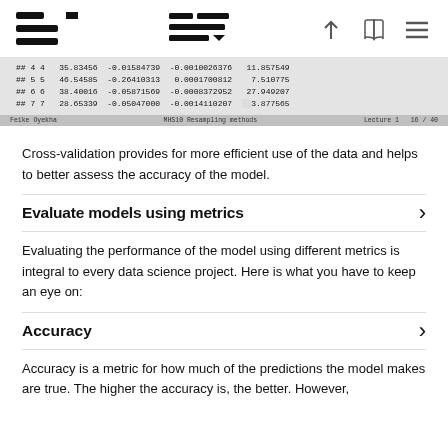StackEdit logo with navigation icons (upload, book, menu)
[Figure (screenshot): Screenshot of a code/console output showing tabular data with columns of numeric values (## 4 4, ## 5 5, ## 6 6, ## 7 7 rows with decimal numbers). Footer shows 'Feike Oyekha  MHS10 Resampling methods  Lecture 1  16/40']
Cross-validation provides for more efficient use of the data and helps to better assess the accuracy of the model.
Evaluate models using metrics
Evaluating the performance of the model using different metrics is integral to every data science project. Here is what you have to keep an eye on:
Accuracy
Accuracy is a metric for how much of the predictions the model makes are true. The higher the accuracy is, the better. However,